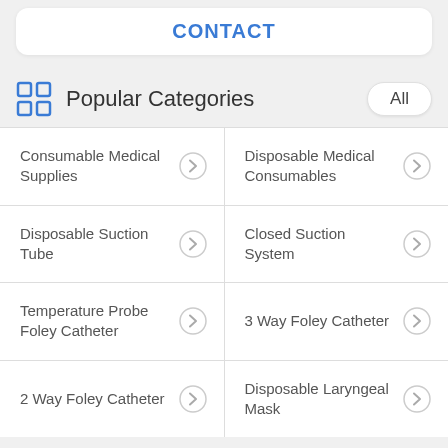CONTACT
Popular Categories
Consumable Medical Supplies
Disposable Medical Consumables
Disposable Suction Tube
Closed Suction System
Temperature Probe Foley Catheter
3 Way Foley Catheter
2 Way Foley Catheter
Disposable Laryngeal Mask